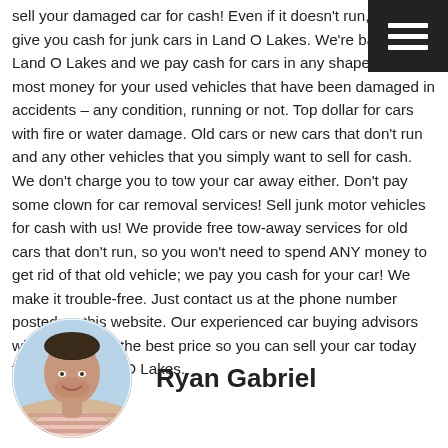sell your damaged car for cash! Even if it doesn't run, we will give you cash for junk cars in Land O Lakes. We're based in Land O Lakes and we pay cash for cars in any shape. Get the most money for your used vehicles that have been damaged in accidents – any condition, running or not. Top dollar for cars with fire or water damage. Old cars or new cars that don't run and any other vehicles that you simply want to sell for cash. We don't charge you to tow your car away either. Don't pay some clown for car removal services! Sell junk motor vehicles for cash with us! We provide free tow-away services for old cars that don't run, so you won't need to spend ANY money to get rid of that old vehicle; we pay you cash for your car! We make it trouble-free. Just contact us at the phone number posted on this website. Our experienced car buying advisors will provide you the best price so you can sell your car today for cash in Land O Lakes.
[Figure (photo): Circular portrait photo of a young man smiling, wearing a striped shirt, outdoors with a blurred background.]
Ryan Gabriel